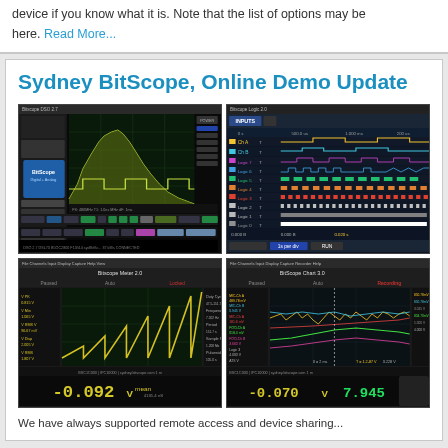device if you know what it is. Note that the list of options may be here. Read More...
Sydney BitScope, Online Demo Update
[Figure (screenshot): Four BitScope application screenshots: DSO oscilloscope showing waveform with spectrum, Logic analyzer with multiple channels, BitScope Meter showing sawtooth wave with -0.092 V reading, BitScope Chart showing multi-channel data with -0.070 V and 7.945 V readings]
We have always supported remote access and device sharing...